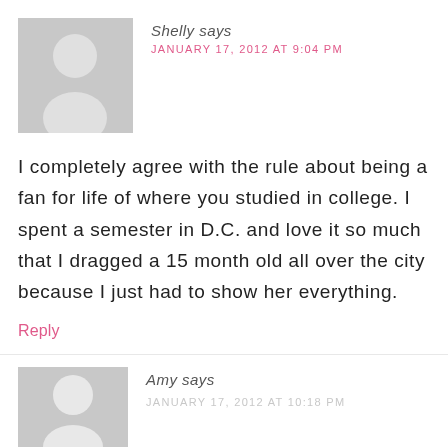[Figure (illustration): Gray placeholder avatar silhouette for commenter Shelly]
Shelly says
JANUARY 17, 2012 AT 9:04 PM
I completely agree with the rule about being a fan for life of where you studied in college. I spent a semester in D.C. and love it so much that I dragged a 15 month old all over the city because I just had to show her everything.
Reply
[Figure (illustration): Gray placeholder avatar silhouette for commenter Amy (partially visible)]
Amy says
JANUARY 17, 2012 AT 10:18 PM